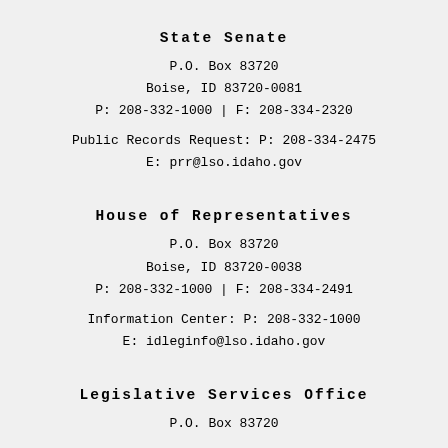State Senate
P.O. Box 83720
Boise, ID 83720-0081
P: 208-332-1000 | F: 208-334-2320
Public Records Request: P: 208-334-2475
E: prr@lso.idaho.gov
House of Representatives
P.O. Box 83720
Boise, ID 83720-0038
P: 208-332-1000 | F: 208-334-2491
Information Center: P: 208-332-1000
E: idleginfo@lso.idaho.gov
Legislative Services Office
P.O. Box 83720